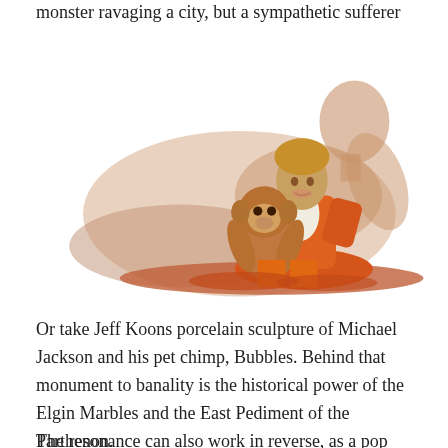monster ravaging a city, but a sympathetic sufferer
[Figure (photo): A porcelain sculpture showing Michael Jackson in an orange outfit sitting with his pet chimpanzee Bubbles, with a classical reclining marble figure (Elgin Marbles / East Pediment of the Parthenon) in the background.]
Or take Jeff Koons porcelain sculpture of Michael Jackson and his pet chimp, Bubbles. Behind that monument to banality is the historical power of the Elgin Marbles and the East Pediment of the Parthenon.
The resonance can also work in reverse, as a pop culture